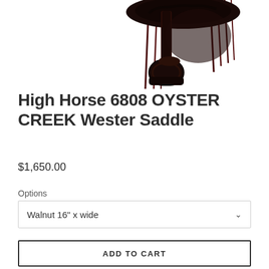[Figure (photo): Product photo of a western saddle with stirrups and leather fringes on a white background, cropped to show lower portion]
High Horse 6808 OYSTER CREEK Wester Saddle
$1,650.00
Options
Walnut 16" x wide
ADD TO CART